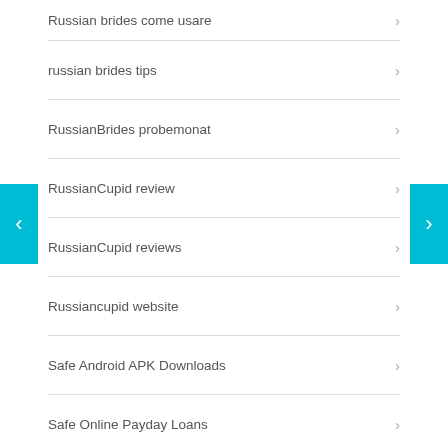Russian brides come usare
russian brides tips
RussianBrides probemonat
RussianCupid review
RussianCupid reviews
Russiancupid website
Safe Android APK Downloads
Safe Online Payday Loans
safe payday loans online
safest payday loans
same day online payday loans